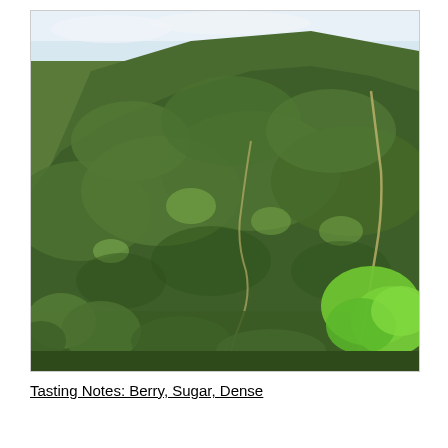[Figure (photo): Aerial/distant view of a lush green mountain or hillside covered in dense tropical or subtropical vegetation, with winding dirt paths/roads visible cutting through the forested slopes. A bright green tree is visible in the lower right foreground. The sky is light/overcast at the top.]
Tasting Notes: Berry, Sugar, Dense